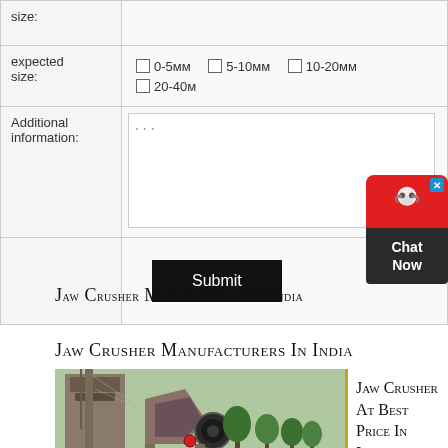| Field | Input |
| --- | --- |
| size: |  |
| expected size: | 0-5мм  5-10мм  10-20мм  20-40мм |
| Additional information: | ... |
|  | Submit |
[Figure (screenshot): Chat Now widget with red background and headset icon]
Jaw Crusher Manufacturers In India
[Figure (photo): Industrial jaw crusher machinery photograph]
Jaw Crusher At Best Price In India Dir Indiamar